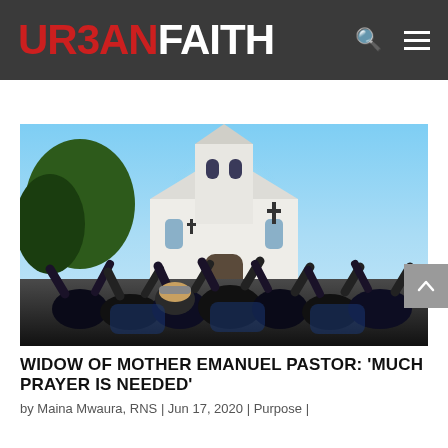URBAN FAITH
[Figure (photo): People raising hands in worship outside a white church building (Mother Emanuel AME Church) with a cross and bell tower, against a blue sky with trees.]
WIDOW OF MOTHER EMANUEL PASTOR: ‘MUCH PRAYER IS NEEDED’
by Maina Mwaura, RNS | Jun 17, 2020 | Purpose |